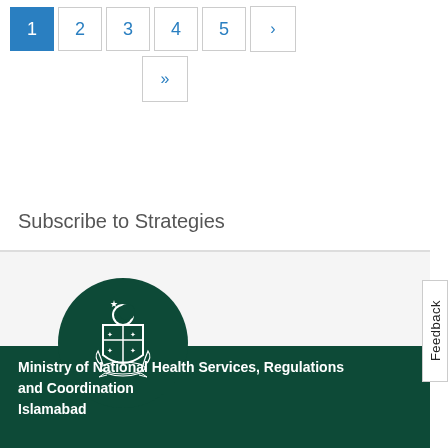1 2 3 4 5 › »
Subscribe to Strategies
[Figure (logo): Pakistan government coat of arms — white emblem on dark green circle background]
Ministry of National Health Services, Regulations and Coordination
Islamabad